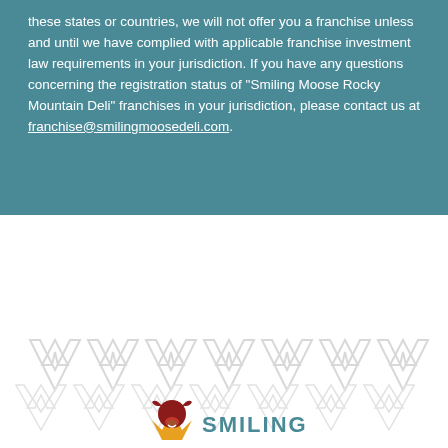these states or countries, we will not offer you a franchise unless and until we have complied with applicable franchise investment law requirements in your jurisdiction. If you have any questions concerning the registration status of "Smiling Moose Rocky Mountain Deli" franchises in your jurisdiction, please contact us at franchise@smilingmoosedeli.com.
[Figure (illustration): Repeating chevron/mountain arrow pattern in light gray on white background]
[Figure (logo): Smiling Moose Rocky Mountain Deli logo with moose head icon and flame/mountain graphic, with SMILING text in teal]